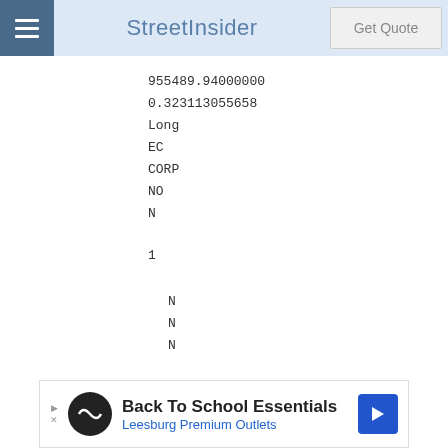StreetInsider
955489.94000000
0.323113055658
Long
EC
CORP
NO
N
1
N
N
N
Jadestone Energy PLC
21380076GWJ8XDYKVQ37
000000000
[Figure (other): Advertisement banner: Back To School Essentials - Leesburg Premium Outlets]